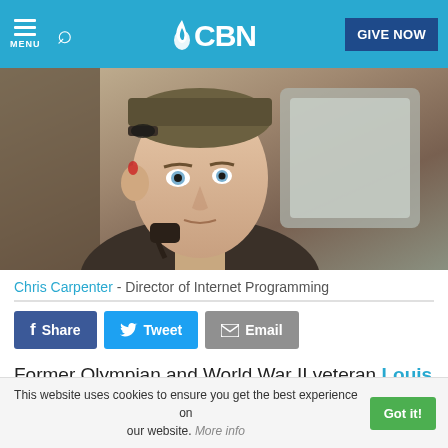CBN - MENU | Search | GIVE NOW
[Figure (photo): Young man in WWII military aviator gear (flight cap, headset/collar equipment) looking to the side, inside what appears to be an aircraft. Scene from the film 'Unbroken'.]
Chris Carpenter - Director of Internet Programming
Share   Tweet   Email
Former Olympian and World War II veteran Louis
This website uses cookies to ensure you get the best experience on our website. More info   Got it!